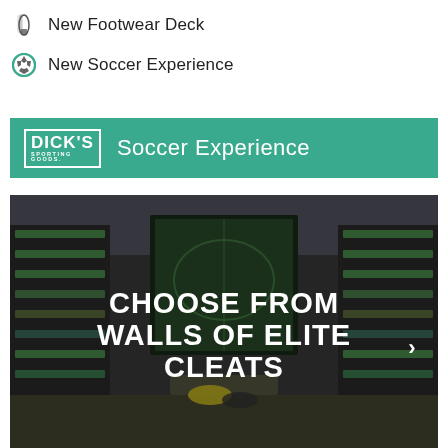New Footwear Deck
New Soccer Experience
[Figure (logo): Dick's Sporting Goods Soccer Experience header bar with teal background, Dick's Sporting Goods logo on left and 'Soccer Experience' text]
[Figure (photo): Interior photo of Dick's Sporting Goods soccer section showing walls of elite cleats on display shelves, with text overlay 'CHOOSE FROM WALLS OF ELITE CLEATS' and a right arrow navigation button]